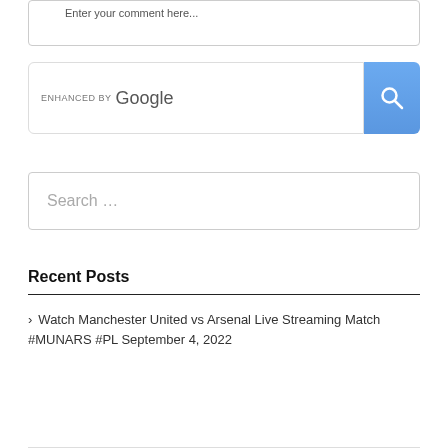[Figure (screenshot): Comment input box (partial top, truncated) with placeholder text 'Enter your comment here...']
[Figure (screenshot): Google search widget with 'ENHANCED BY Google' label and a blue search button with magnifying glass icon]
[Figure (screenshot): Search input box with placeholder text 'Search ...']
Recent Posts
> Watch Manchester United vs Arsenal Live Streaming Match #MUNARS #PL September 4, 2022